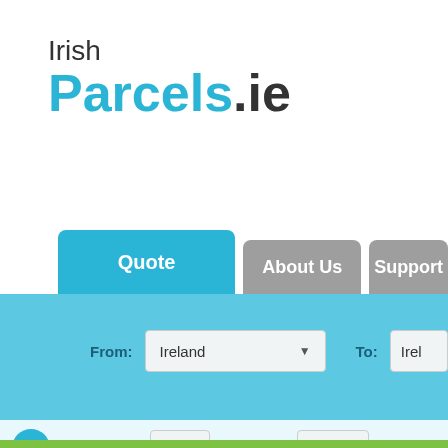[Figure (logo): IrishParcels.ie logo with 'Irish' in dark gray and 'Parcels' in bold cyan blue, '.ie' in dark gray]
[Figure (screenshot): Website navigation bar with Quote tab active in blue, About Us and Support tabs in gray]
[Figure (screenshot): Quote form with From: Ireland dropdown, To: Ireland field, and parcel weight/size inputs]